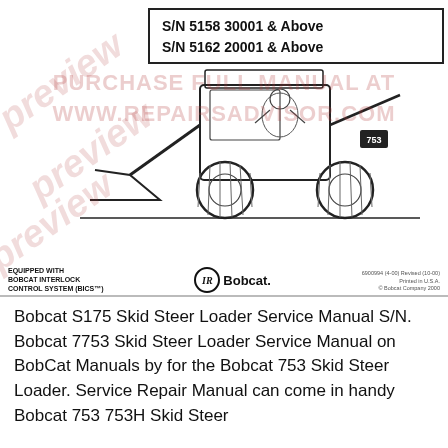[Figure (illustration): Cover page of Bobcat skid steer loader service manual showing serial number box with 'S/N 5158 30001 & Above' and 'S/N 5162 20001 & Above', watermark overlays reading 'preview', 'PURCHASE FULL MANUAL AT', 'WWW.REPAIRSADVISOR.COM', line drawing illustration of a Bobcat skid steer loader (model 753) with bucket attachment, Ingersoll-Rand Bobcat logo, and publication details at bottom: '6900994 (4-00) Revised (10-00)', 'Printed in U.S.A.', '© Bobcat Company 2000'. Text 'EQUIPPED WITH BOBCAT INTERLOCK CONTROL SYSTEM (BICS™)'.]
Bobcat S175 Skid Steer Loader Service Manual S/N. Bobcat 7753 Skid Steer Loader Service Manual on BobCat Manuals by for the Bobcat 753 Skid Steer Loader. Service Repair Manual can come in handy Bobcat 753 753H Skid Steer